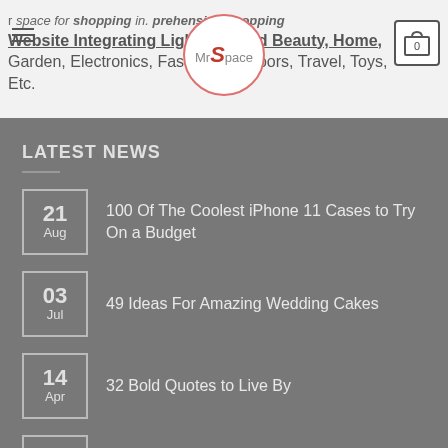Your space for shopping in. Comprehensive Shopping Website Integrating Lighting, Health, And Beauty, Home, Garden, Electronics, Fashion, Outdoors, Travel, Toys, Etc.
LATEST NEWS
21 Aug — 100 Of The Coolest iPhone 11 Cases to Try On a Budget
03 Jul — 49 Ideas For Amazing Wedding Cakes
14 Apr — 32 Bold Quotes to Live By
14 Apr — 30 Quotes For Kids To Get Inspired